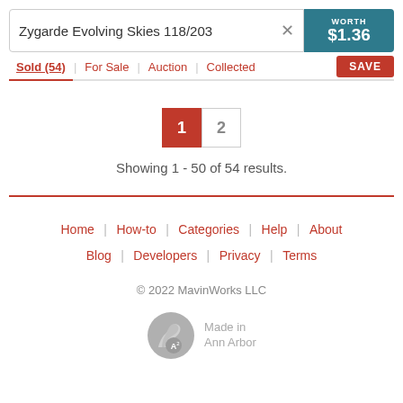Zygarde Evolving Skies 118/203
WORTH $1.36
Sold (54) | For Sale | Auction | Collected
Showing 1 - 50 of 54 results.
Home | How-to | Categories | Help | About
Blog | Developers | Privacy | Terms
© 2022 MavinWorks LLC
[Figure (logo): Flexing arm logo with A2 badge and 'Made in Ann Arbor' text]